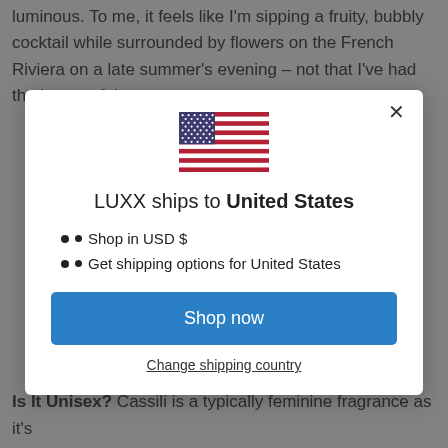luminous. To me, it feels like I'm sipping a fruity, bubbly cocktail while surrounded by flowers on the French Riviera on a late summer's evening – not that I've had the luxury of that e
[Figure (illustration): Modal dialog box with US flag icon, heading 'LUXX ships to United States', bullet points listing shop in USD $ and get shipping options for United States, a blue 'Shop now' button, and a 'Change shipping country' link. An X close button is in the top right corner.]
Is It Unisex? Cassili is a typically feminine fragrance as it's